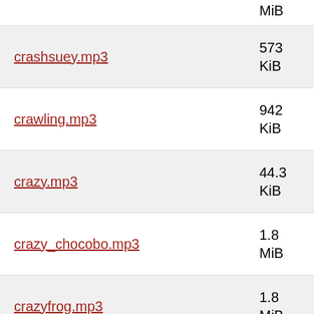MiB (partial, top)
crashsuey.mp3	573 KiB
crawling.mp3	942 KiB
crazy.mp3	44.3 KiB
crazy_chocobo.mp3	1.8 MiB
crazyfrog.mp3	1.8 MiB
crazyparty.mp3	52.7 KiB
crazyrun.mp3	4.5 MiB